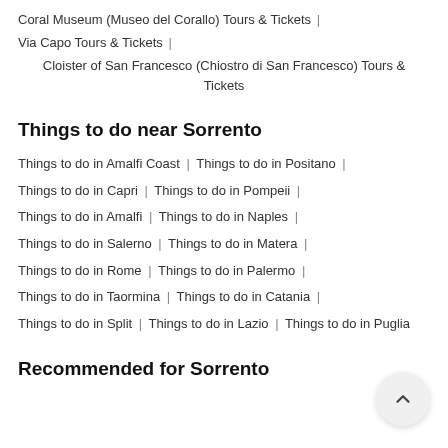Coral Museum (Museo del Corallo) Tours & Tickets |
Via Capo Tours & Tickets |
Cloister of San Francesco (Chiostro di San Francesco) Tours & Tickets
Things to do near Sorrento
Things to do in Amalfi Coast | Things to do in Positano |
Things to do in Capri | Things to do in Pompeii |
Things to do in Amalfi | Things to do in Naples |
Things to do in Salerno | Things to do in Matera |
Things to do in Rome | Things to do in Palermo |
Things to do in Taormina | Things to do in Catania |
Things to do in Split | Things to do in Lazio | Things to do in Puglia
Recommended for Sorrento